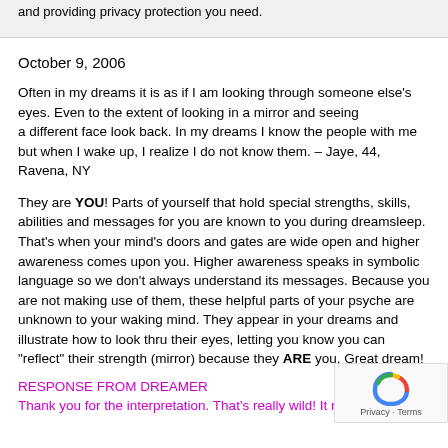and providing privacy protection you need.
October 9, 2006
Often in my dreams it is as if I am looking through someone else's eyes. Even to the extent of looking in a mirror and seeing a different face look back. In my dreams I know the people with me but when I wake up, I realize I do not know them. – Jaye, 44, Ravena, NY
They are YOU! Parts of yourself that hold special strengths, skills, abilities and messages for you are known to you during dreamsleep. That's when your mind's doors and gates are wide open and higher awareness comes upon you. Higher awareness speaks in symbolic language so we don't always understand its messages. Because you are not making use of them, these helpful parts of your psyche are unknown to your waking mind. They appear in your dreams and illustrate how to look thru their eyes, letting you know you can “reflect” their strength (mirror) because they ARE you. Great dream!
RESPONSE FROM DREAMER
Thank you for the interpretation. That's really wild! It really inspires